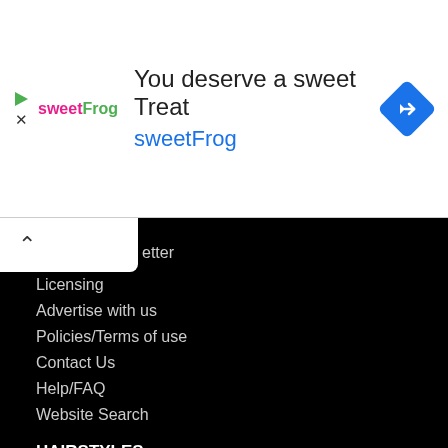[Figure (infographic): Advertisement banner for sweetFrog frozen yogurt. Contains sweetFrog logo, text 'You deserve a sweet Treat' and 'sweetFrog', and a blue navigation/map icon on the right.]
etter
Licensing
Advertise with us
Policies/Terms of use
Contact Us
Help/FAQ
Website Search
HAIRSTYLES
New Hairstyles
Popular Hairstyles
Celebrity Hairstyles
Short Hairstyles
Medium Hairstyles
Long Hairstyles
Pixie Cuts